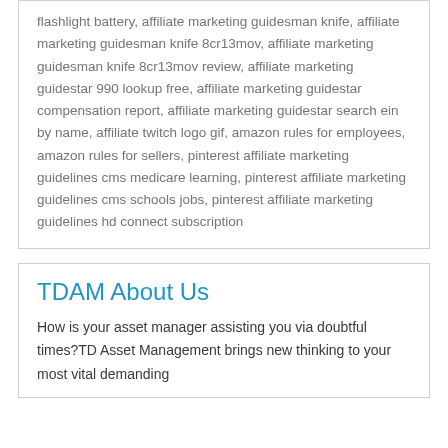flashlight battery, affiliate marketing guidesman knife, affiliate marketing guidesman knife 8cr13mov, affiliate marketing guidesman knife 8cr13mov review, affiliate marketing guidestar 990 lookup free, affiliate marketing guidestar compensation report, affiliate marketing guidestar search ein by name, affiliate twitch logo gif, amazon rules for employees, amazon rules for sellers, pinterest affiliate marketing guidelines cms medicare learning, pinterest affiliate marketing guidelines cms schools jobs, pinterest affiliate marketing guidelines hd connect subscription
TDAM About Us
How is your asset manager assisting you via doubtful times?TD Asset Management brings new thinking to your most vital demanding